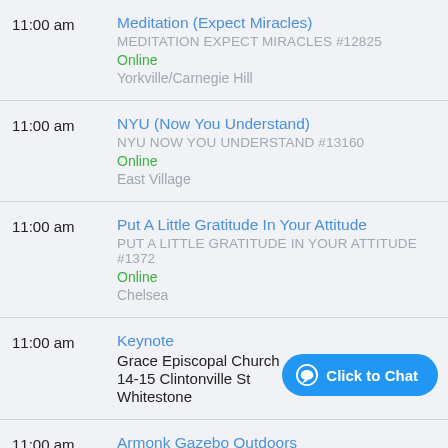11:00 am | Meditation (Expect Miracles) | MEDITATION EXPECT MIRACLES #12825 | Online | Yorkville/Carnegie Hill
11:00 am | NYU (Now You Understand) | NYU NOW YOU UNDERSTAND #13160 | Online | East Village
11:00 am | Put A Little Gratitude In Your Attitude | PUT A LITTLE GRATITUDE IN YOUR ATTITUDE #13724 | Online | Chelsea
11:00 am | Keynote | Grace Episcopal Church | 14-15 Clintonville St | Whitestone
11:00 am | Armonk Gazebo Outdoors | Wampus Brook Park